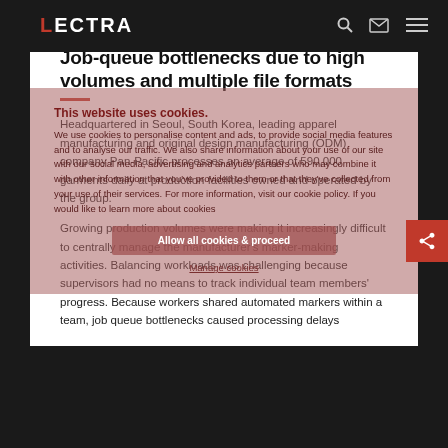LECTRA [logo]
Job-queue bottlenecks due to high volumes and multiple file formats
Headquartered in Seoul, South Korea, leading apparel manufacturing and original design manufacturing (ODM) company Pan-Pacific processes an average of 590,000 garments daily at production facilities owned and operated by the group.
Growing production volumes were making it increasingly difficult to centrally manage the manufacturer's marker-making activities. Balancing workloads was challenging because supervisors had no means to track individual team members' progress. Because workers shared automated markers within a team, job queue bottlenecks caused processing delays
This website uses cookies. We use cookies to personalise content and ads, to provide social media features and to analyse our traffic. We also share information about your use of our site with our social media, advertising and analytics partners who may combine it with other information that you've provided to them or that they've collected from your use of their services. For more information, visit our cookie policy. If you would like more about cookies Allow all cookies & proceed Manage cookies